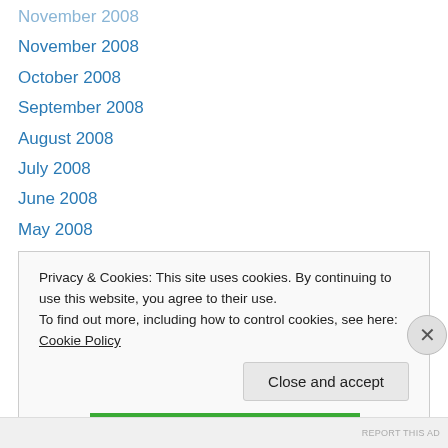November 2008
October 2008
September 2008
August 2008
July 2008
June 2008
May 2008
April 2008
March 2008
February 2008
January 2008
December 2007
November 2007
Privacy & Cookies: This site uses cookies. By continuing to use this website, you agree to their use.
To find out more, including how to control cookies, see here: Cookie Policy
Close and accept
REPORT THIS AD